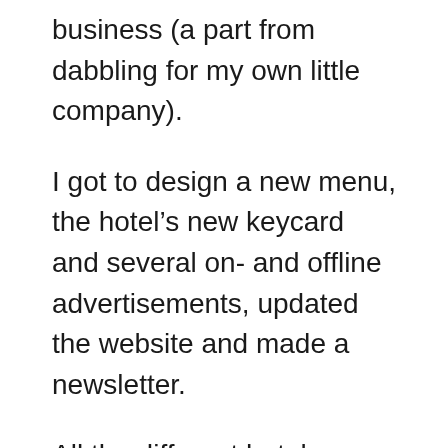business (a part from dabbling for my own little company).
I got to design a new menu, the hotel’s new keycard and several on- and offline advertisements, updated the website and made a newsletter.
All the different hotel departments had a huge need for photography so I made sure they got a lot of new image material for their archives and future use: browse through the gallery below.